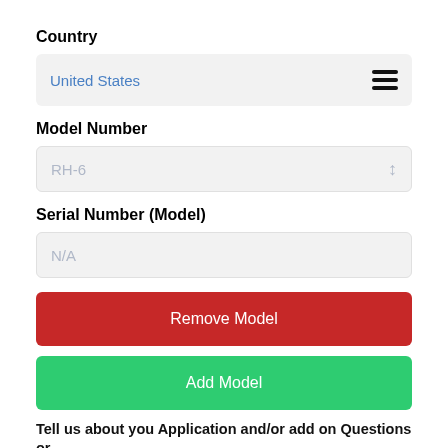Country
United States
Model Number
RH-6
Serial Number (Model)
N/A
Remove Model
Add Model
Tell us about you Application and/or add on Questions or Comments